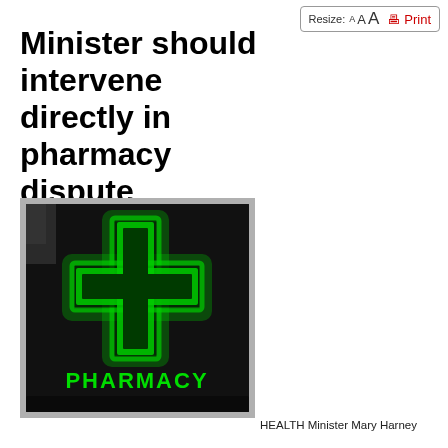Minister should intervene directly in pharmacy dispute
[Figure (photo): A pharmacy sign showing a glowing green neon cross symbol above the word PHARMACY in green neon letters, mounted on a grey/silver framed lightbox sign.]
HEALTH Minister Mary Harney